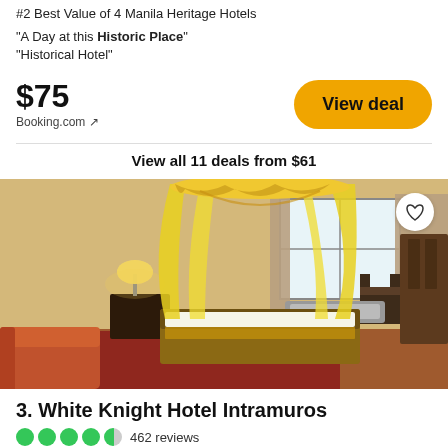#2 Best Value of 4 Manila Heritage Hotels
"A Day at this Historic Place"
"Historical Hotel"
$75
Booking.com ↗
View deal
View all 11 deals from $61
[Figure (photo): Hotel room with a yellow canopy bed, warm lighting, red carpet, sofa, nightstand with lamp, window with curtains, chair and wooden wardrobe]
3. White Knight Hotel Intramuros
462 reviews